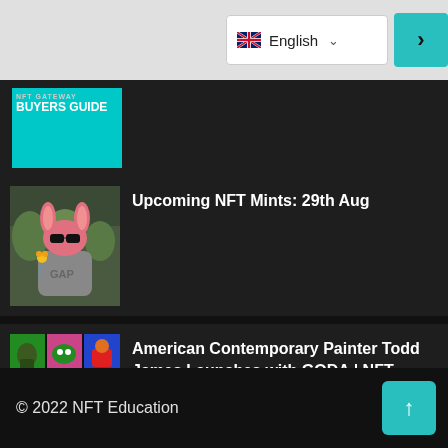[Figure (screenshot): Language selector showing UK flag and 'English' text with dropdown chevron, and a teal arrow button on the right]
[Figure (illustration): Partial view of NFT Gateway Buyers Guide thumbnail in teal/cyan color]
[Figure (illustration): Cartoon illustration of a pink bunny-like character in a GAP hoodie holding a flower, standing in front of trees]
Upcoming NFT Mints: 29th Aug
[Figure (illustration): Colorful 3x3 grid of cartoon character illustrations by Todd James - various colorful animated characters on bright backgrounds]
American Contemporary Painter Todd James Launches with GODA | NFT CULTURE | NFTs & Crypto Art
© 2022 NFT Education